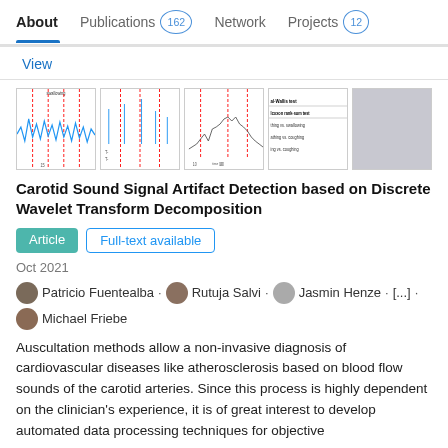About   Publications 162   Network   Projects 12
View
[Figure (other): Five thumbnail images from the publication showing signal waveforms, scatter plots, a time-series chart, a table with statistical test results (Kruskal-Wallis test, Wilcoxon rank-sum test), and a blank gray thumbnail.]
Carotid Sound Signal Artifact Detection based on Discrete Wavelet Transform Decomposition
Article   Full-text available
Oct 2021
Patricio Fuentealba · Rutuja Salvi · Jasmin Henze · [...] · Michael Friebe
Auscultation methods allow a non-invasive diagnosis of cardiovascular diseases like atherosclerosis based on blood flow sounds of the carotid arteries. Since this process is highly dependent on the clinician's experience, it is of great interest to develop automated data processing techniques for objective